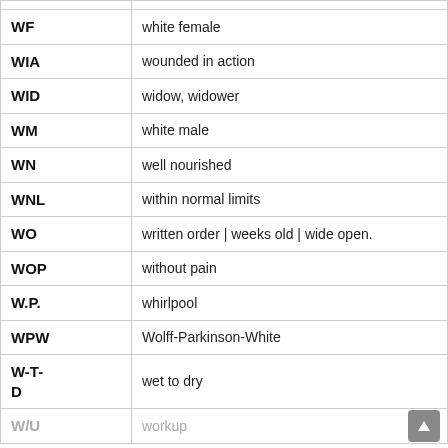| Abbreviation | Meaning |
| --- | --- |
| WF | white female |
| WIA | wounded in action |
| WID | widow, widower |
| WM | white male |
| WN | well nourished |
| WNL | within normal limits |
| WO | written order  |  weeks old  |  wide open. |
| WOP | without pain |
| W.P. | whirlpool |
| WPW | Wolff-Parkinson-White |
| W-T-D | wet to dry |
| W/U | workup |